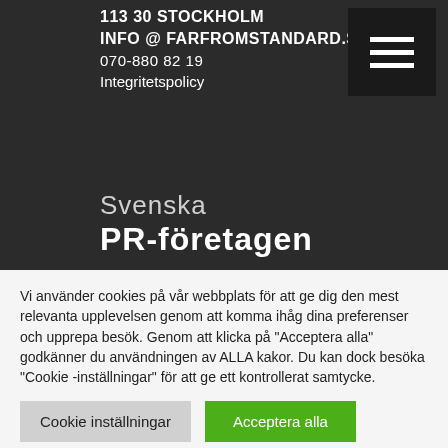113 30 STOCKHOLM
INFO @ FARFROMSTANDARD.SE
070-880 82 19
Integritetspolicy
[Figure (screenshot): Hamburger menu icon (three horizontal white lines) on dark background]
Svenska PR-företagen
Vi använder cookies på vår webbplats för att ge dig den mest relevanta upplevelsen genom att komma ihåg dina preferenser och upprepa besök. Genom att klicka på "Acceptera alla" godkänner du användningen av ALLA kakor. Du kan dock besöka "Cookie -inställningar" för att ge ett kontrollerat samtycke.
Cookie inställningar
Acceptera alla